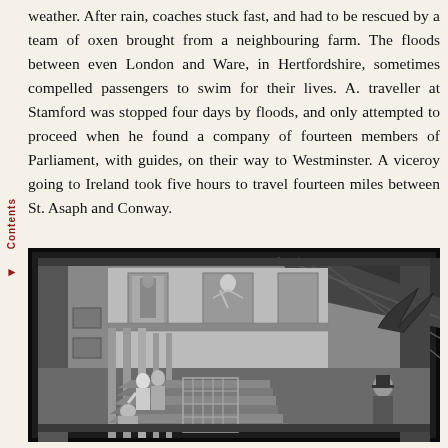weather. After rain, coaches stuck fast, and had to be rescued by a team of oxen brought from a neighbouring farm. The floods between even London and Ware, in Hertfordshire, sometimes compelled passengers to swim for their lives. A. traveller at Stamford was stopped four days by floods, and only attempted to proceed when he found a company of fourteen members of Parliament, with guides, on their way to Westminster. A viceroy going to Ireland took five hours to travel fourteen miles between St. Asaph and Conway.
[Figure (illustration): A black and white engraving depicting an interior scene with figures on stairs, ornate architectural details including columns and decorative wall panels, and a man standing in the foreground on the right side.]